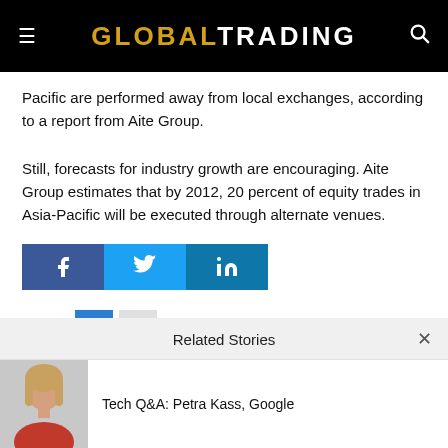GLOBALTRADING
Pacific are performed away from local exchanges, according to a report from Aite Group.
Still, forecasts for industry growth are encouraging. Aite Group estimates that by 2012, 20 percent of equity trades in Asia-Pacific will be executed through alternate venues.
[Figure (other): Social share buttons for Facebook, Twitter, and LinkedIn]
Pages  1  2
Related Stories
Tech Q&A: Petra Kass, Google